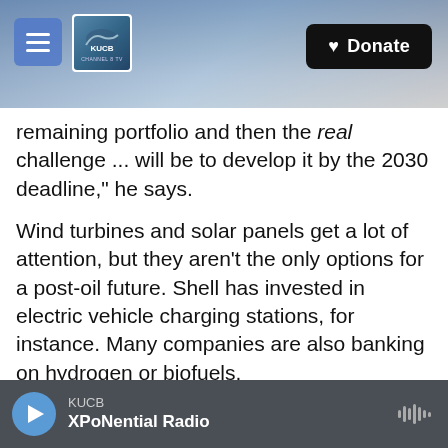[Figure (screenshot): Website header with mountain/ocean background photo, hamburger menu button, KUCB Channel 8 TV logo, and Donate button]
remaining portfolio and then the real challenge ... will be to develop it by the 2030 deadline," he says.
Wind turbines and solar panels get a lot of attention, but they aren't the only options for a post-oil future. Shell has invested in electric vehicle charging stations, for instance. Many companies are also banking on hydrogen or biofuels.
Then there's carbon capture, technology that can prevent carbon dioxide from being released or even pull it out of the atmosphere – which is key to understanding the other half of the European-
[Figure (screenshot): Audio player bar at bottom: play button, KUCB station label, XPoNential Radio show name, waveform icon]